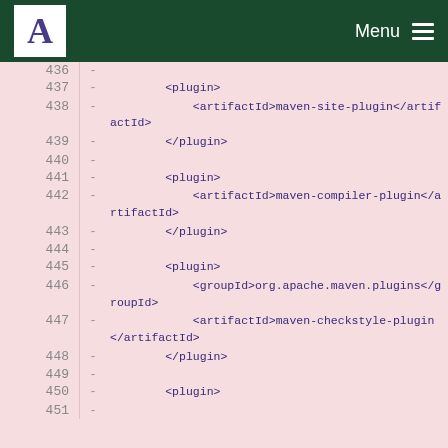A Menu
436 -
437 - <plugin>
438 - <artifactId>maven-site-plugin</artifactId>
439 - </plugin>
440 -
441 - <plugin>
442 - <artifactId>maven-compiler-plugin</artifactId>
443 - </plugin>
444 -
445 - <plugin>
446 - <groupId>org.apache.maven.plugins</groupId>
447 - <artifactId>maven-checkstyle-plugin</artifactId>
448 - </plugin>
449 -
450 - <plugin>
451